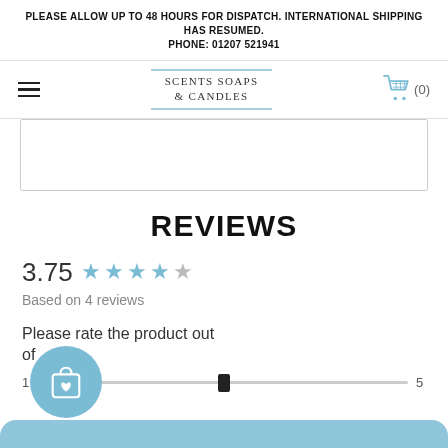PLEASE ALLOW UP TO 48 HOURS FOR DISPATCH. INTERNATIONAL SHIPPING HAS RESUMED.
PHONE: 01207 521941
[Figure (logo): Scents Soaps & Candles logo with light blue border top and bottom]
[Figure (other): Shopping cart icon with count (0)]
[Figure (other): Image placeholder box with border]
REVIEWS
3.75 ★★★★☆
Based on 4 reviews
Please rate the product out of
[Figure (other): Horizontal slider from 1 to 5 with thumb in the middle]
[Figure (other): Floating circular button with shopping bag and heart icon]